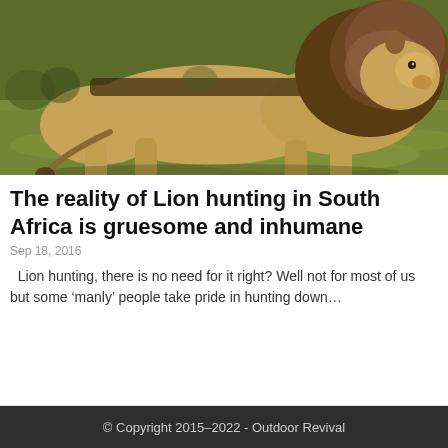[Figure (photo): A male lion with a dark mane walking across a grassy savanna field, photographed from the side, sunlit outdoor setting.]
The reality of Lion hunting in South Africa is gruesome and inhumane
Sep 18, 2016
Lion hunting, there is no need for it right? Well not for most of us but some ‘manly’ people take pride in hunting down…
© Copyright 2015–2022 - Outdoor Revival